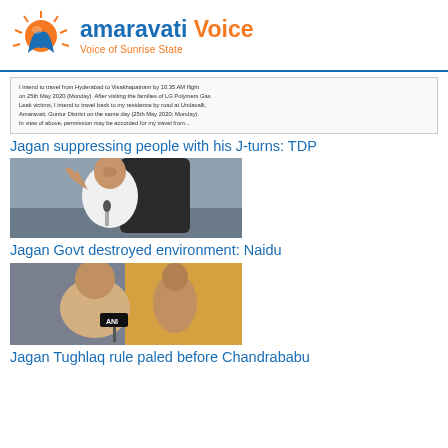amaravati Voice – Voice of Sunrise State
[Figure (screenshot): Scanned document text about travel from Hyderabad to Visakhapatnam by 10.35 AM flight on 25th May 2020 (Monday), visiting LG Polymers Gas Leak victims, and returning to Undavalli, Amaravati, Guntur District on same day.]
Jagan suppressing people with his J-turns: TDP
[Figure (photo): Photo of Jagan – a man in white shirt seated at a desk with microphone, raising his hand]
Jagan Govt destroyed environment: Naidu
[Figure (photo): Photo of Chandrababu Naidu holding ANI microphone, with another person in background]
Jagan Tughlaq rule paled before Chandrababu